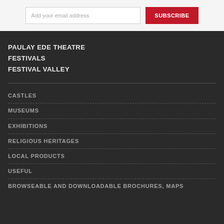Add your email address
SUBSCRIBE
PAULAY EDE THEATRE
FESTIVALS
FESTIVAL VALLEY
CASTLES
MUSEUMS
EXHIBITIONS
RELIGIOUS HERITAGES
LOCAL PRODUCTS
USEFUL
BROWSEABLE AND DOWNLOADABLE BROCHURES, MAPS